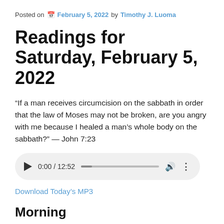Posted on February 5, 2022 by Timothy J. Luoma
Readings for Saturday, February 5, 2022
“If a man receives circumcision on the sabbath in order that the law of Moses may not be broken, are you angry with me because I healed a man’s whole body on the sabbath?” — John 7:23
[Figure (other): Audio player showing 0:00 / 12:52 with play button, progress bar, volume icon, and options icon]
Download Today’s MP3
Morning